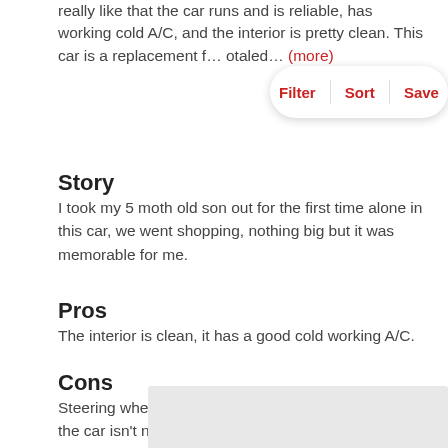really like that the car runs and is reliable, has working cold A/C, and the interior is pretty clean. This car is a replacement f… otaled… (more)
Story
I took my 5 moth old son out for the first time alone in this car, we went shopping, nothing big but it was memorable for me.
Pros
The interior is clean, it has a good cold working A/C.
Cons
Steering wheel is broken, the overall body design of the car isn't nice, and uses a lot of gas.